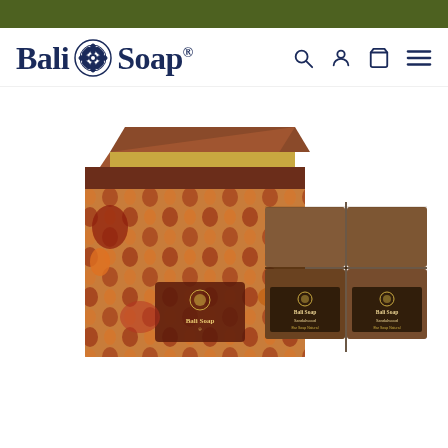[Figure (logo): Bali Soap logo with mandala emblem, dark navy text reading 'Bali Soap®', followed by search, account, cart, and menu icons]
[Figure (photo): Product photo showing two Bali Soap sandalwood soap sets: left is an open decorative box with red/orange floral pattern containing 4 soap bars, right shows 4 unwrapped dark brown sandalwood soap bars with Bali Soap branding labels]